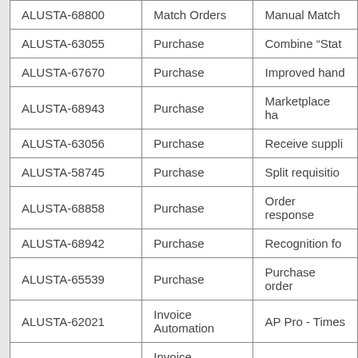| ALUSTA-68800 | Match Orders | Manual Match |
| ALUSTA-63055 | Purchase | Combine “Stat |
| ALUSTA-67670 | Purchase | Improved hand |
| ALUSTA-68943 | Purchase | Marketplace ha |
| ALUSTA-63056 | Purchase | Receive suppli |
| ALUSTA-58745 | Purchase | Split requisitio |
| ALUSTA-68858 | Purchase | Order response |
| ALUSTA-68942 | Purchase | Recognition fo |
| ALUSTA-65539 | Purchase | Purchase order |
| ALUSTA-62021 | Invoice Automation | AP Pro - Times |
| ALUSTA-56120 | Invoice Automation | AP Pro - Hand |
| ALUSTA-65537 | Purchase | Suppliers can c |
| ALUSTA-67396 | Invoice Automation | AP Pro - Indicа |
| ALUSTA-65078 | Purchase | Notification if |
| ALUSTA-68276 | Marketplace | Enhanced Buyе |